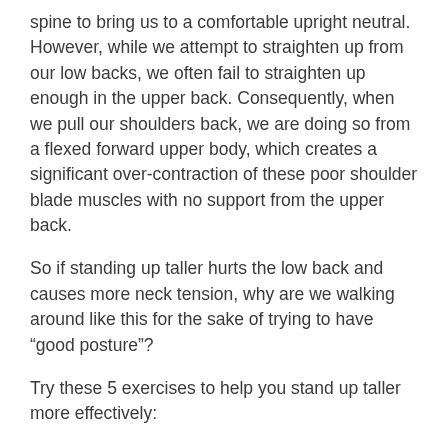spine to bring us to a comfortable upright neutral. However, while we attempt to straighten up from our low backs, we often fail to straighten up enough in the upper back. Consequently, when we pull our shoulders back, we are doing so from a flexed forward upper body, which creates a significant over-contraction of these poor shoulder blade muscles with no support from the upper back.
So if standing up taller hurts the low back and causes more neck tension, why are we walking around like this for the sake of trying to have “good posture”?
Try these 5 exercises to help you stand up taller more effectively:
1) Thoracic Spine Extension For Extension of